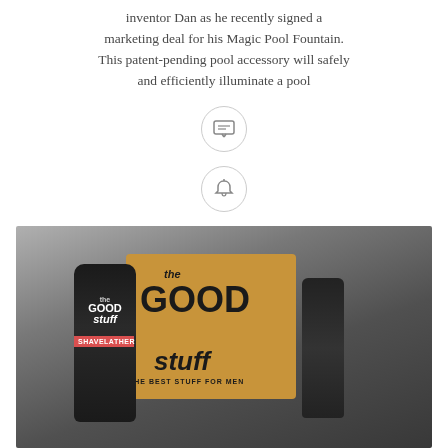inventor Dan as he recently signed a marketing deal for his Magic Pool Fountain. This patent-pending pool accessory will safely and efficiently illuminate a pool
[Figure (other): Two circular icon buttons: one with a comment/text icon, one with a notification/bell icon]
[Figure (photo): Product photo of 'The Good Stuff' men's grooming brand showing a kraft cardboard box labeled 'The Good Stuff - The Best Stuff For Men', a black tube labeled 'Good Stuff Shave Lather', and a black bottle labeled 'Good Stuff After Shave', all on a gray gradient background.]